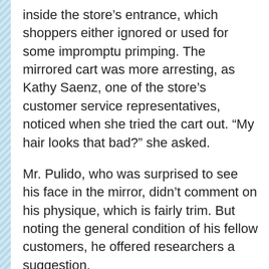inside the store's entrance, which shoppers either ignored or used for some impromptu primping. The mirrored cart was more arresting, as Kathy Saenz, one of the store's customer service representatives, noticed when she tried the cart out. “My hair looks that bad?” she asked.
Mr. Pulido, who was surprised to see his face in the mirror, didn’t comment on his physique, which is fairly trim. But noting the general condition of his fellow customers, he offered researchers a suggestion.
“You should hang it a little lower,” he said, “so you show people’s bellies.”
(Buy Me!)
Scientists are beginning to study ways to get